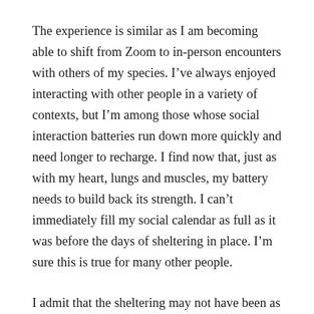The experience is similar as I am becoming able to shift from Zoom to in-person encounters with others of my species. I’ve always enjoyed interacting with other people in a variety of contexts, but I’m among those whose social interaction batteries run down more quickly and need longer to recharge. I find now that, just as with my heart, lungs and muscles, my battery needs to build back its strength. I can’t immediately fill my social calendar as full as it was before the days of sheltering in place. I’m sure this is true for many other people.
I admit that the sheltering may not have been as difficult for me as for more extroverted